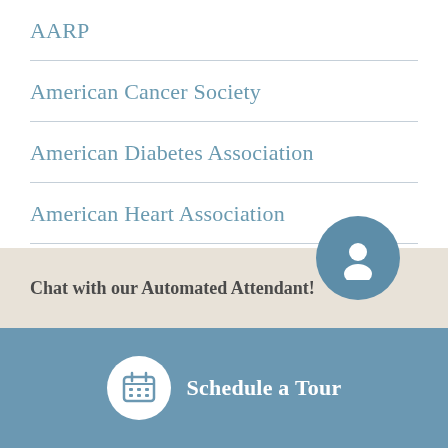AARP
American Cancer Society
American Diabetes Association
American Heart Association
American Seniors Housing Association
Chat with our Automated Attendant!
Schedule a Tour